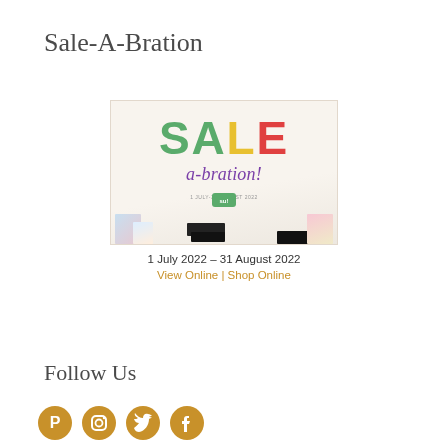Sale-A-Bration
[Figure (illustration): Sale-A-Bration promotional banner image with colorful SALE text, a-bration! script, date 1 July–31 August 2022, Stampin' Up! logo, and crafting product images at bottom. Below the image: '1 July 2022 – 31 August 2022' and links 'View Online | Shop Online' in gold/orange.]
Follow Us
[Figure (illustration): Four social media icons (Pinterest, Instagram, Twitter, Facebook) in gold/amber color, partially visible at bottom of page.]